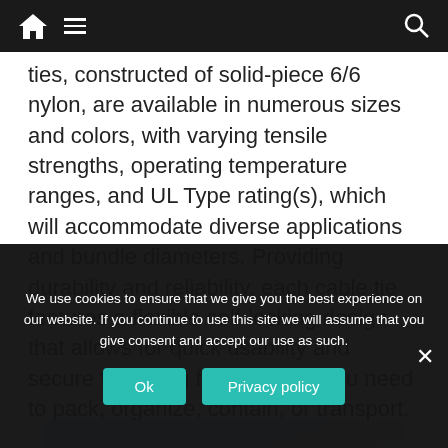Navigation bar with home, menu, and search icons
ties, constructed of solid-piece 6/6 nylon, are available in numerous sizes and colors, with varying tensile strengths, operating temperature ranges, and UL Type rating(s), which will accommodate diverse applications and bundle diameters. Providing durability and reliability, each cable tie features a flexible self-locking design that allows for quick usability and secure fastening for whatever you need to pack, organize, contain, or transport.
[Figure (photo): Advertisement image with text 'DON'T TRUCK AROUND' on a sky/cloud background]
We use cookies to ensure that we give you the best experience on our website. If you continue to use this site we will assume that you give consent and accept our use as such.